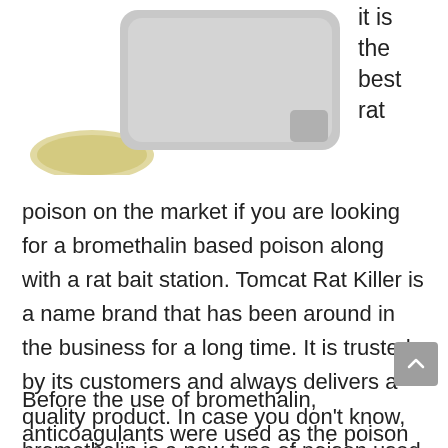[Figure (photo): Partial view of a rat bait station product (gray plastic box) and a circular logo/seal on the left side, cropped at top]
it is the best rat poison on the market if you are looking for a bromethalin based poison along with a rat bait station. Tomcat Rat Killer is a name brand that has been around in the business for a long time. It is trusted by its customers and always delivers a quality product. In case you don't know, bromethalin is a new type of poison used to kill rats.
Before the use of bromethalin, anticoagulants were used as the poison of choice for rats. Ever since the EPA has restricted the use of certain